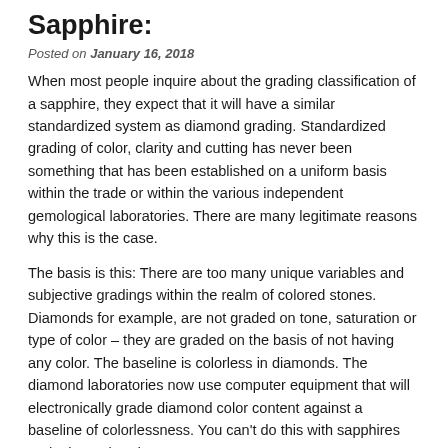Sapphire:
Posted on January 16, 2018
When most people inquire about the grading classification of a sapphire, they expect that it will have a similar standardized system as diamond grading. Standardized grading of color, clarity and cutting has never been something that has been established on a uniform basis within the trade or within the various independent gemological laboratories. There are many legitimate reasons why this is the case.
The basis is this: There are too many unique variables and subjective gradings within the realm of colored stones. Diamonds for example, are not graded on tone, saturation or type of color – they are graded on the basis of not having any color. The baseline is colorless in diamonds. The diamond laboratories now use computer equipment that will electronically grade diamond color content against a baseline of colorlessness. You can't do this with sapphires and other colored gemstones.
Colored stones are all about many characteristics of color: